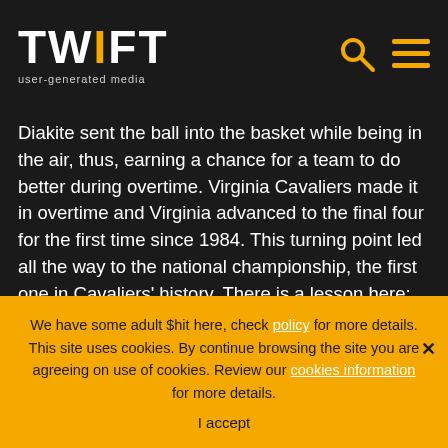TWIFT user-generated media
Diakite sent the ball into the basket while being in the air, thus, earning a chance for a team to do better during overtime. Virginia Cavaliers made it in overtime and Virginia advanced to the final four for the first time since 1984. This turning point led all the way to the national championship, the first one in Cavaliers' history. There is a lesson here: "Talent wins games, but teamwork and intelligence win championships."
We have some adult $hit here, check policy for more details. This site uses cookies. By continue browsing the site you are agreeing on use of cookies. Review our cookies information for more details.
I accept